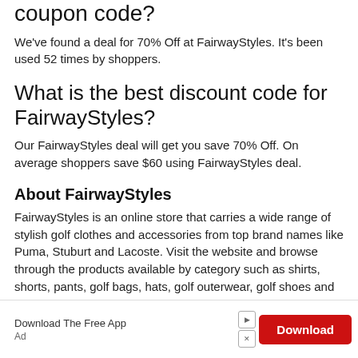coupon code?
We've found a deal for 70% Off at FairwayStyles. It's been used 52 times by shoppers.
What is the best discount code for FairwayStyles?
Our FairwayStyles deal will get you save 70% Off. On average shoppers save $60 using FairwayStyles deal.
About FairwayStyles
FairwayStyles is an online store that carries a wide range of stylish golf clothes and accessories from top brand names like Puma, Stuburt and Lacoste. Visit the website and browse through the products available by category such as shirts, shorts, pants, golf bags, hats, golf outerwear, golf shoes and more.
Download The Free App
Ad